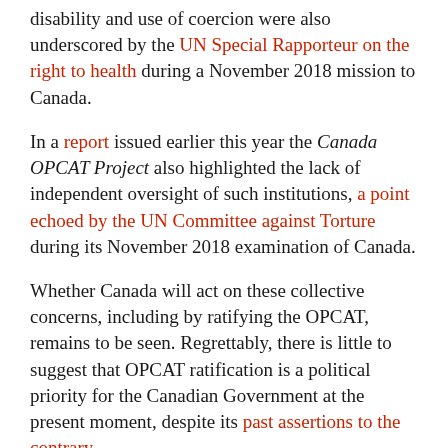disability and use of coercion were also underscored by the UN Special Rapporteur on the right to health during a November 2018 mission to Canada.
In a report issued earlier this year the Canada OPCAT Project also highlighted the lack of independent oversight of such institutions, a point echoed by the UN Committee against Torture during its November 2018 examination of Canada.
Whether Canada will act on these collective concerns, including by ratifying the OPCAT, remains to be seen. Regrettably, there is little to suggest that OPCAT ratification is a political priority for the Canadian Government at the present moment, despite its past assertions to the contrary.